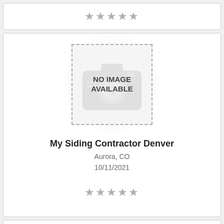[Figure (other): Star rating row (5 gray stars) for a previous listing card partially visible at top]
[Figure (other): No Image Available placeholder image with dashed border and camera icon watermark]
My Siding Contractor Denver
Aurora, CO
10/11/2021
[Figure (other): Star rating row (5 gray stars) for My Siding Contractor Denver]
[Figure (other): Partial card at bottom showing beginning of next listing]